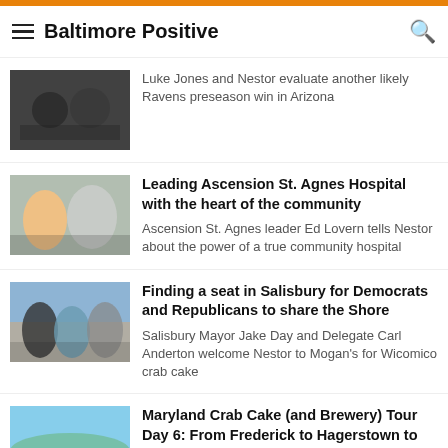Baltimore Positive
Luke Jones and Nestor evaluate another likely Ravens preseason win in Arizona
Leading Ascension St. Agnes Hospital with the heart of the community
Ascension St. Agnes leader Ed Lovern tells Nestor about the power of a true community hospital
Finding a seat in Salisbury for Democrats and Republicans to share the Shore
Salisbury Mayor Jake Day and Delegate Carl Anderton welcome Nestor to Mogan's for Wicomico crab cake
Maryland Crab Cake (and Brewery) Tour Day 6: From Frederick to Hagerstown to